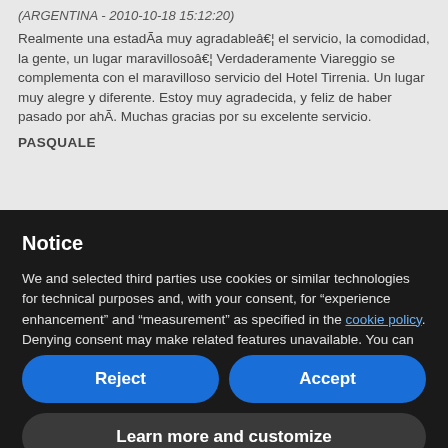(ARGENTINA - 2010-10-18 15:12:20)
Realmente una estadÃ­a muy agradableâ€¦ el servicio, la comodidad, la gente, un lugar maravillosoâ€¦ Verdaderamente Viareggio se complementa con el maravilloso servicio del Hotel Tirrenia. Un lugar muy alegre y diferente. Estoy muy agradecida, y feliz de haber pasado por ahÃ­. Muchas gracias por su excelente servicio.
PASQUALE
Notice
We and selected third parties use cookies or similar technologies for technical purposes and, with your consent, for “experience enhancement” and “measurement” as specified in the cookie policy. Denying consent may make related features unavailable. You can freely give, deny, or withdraw your consent at any time. Use the “Accept” button to consent to the use of such technologies. Use the “Reject” button to continue without accepting.
Reject
Accept
Learn more and customize